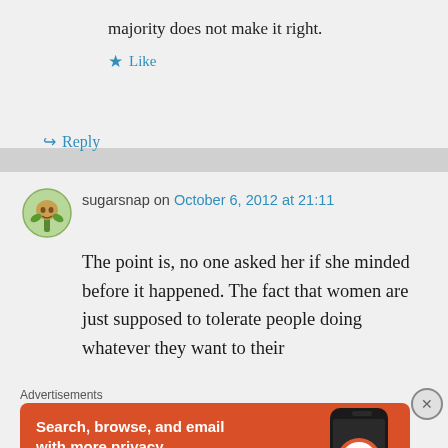majority does not make it right.
★ Like
↳ Reply
sugarsnap on October 6, 2012 at 21:11
The point is, no one asked her if she minded before it happened. The fact that women are just supposed to tolerate people doing whatever they want to their
Advertisements
[Figure (infographic): DuckDuckGo advertisement banner: orange background with white bold text 'Search, browse, and email with more privacy.' with a rounded white button 'All in One Free App' and a phone image on the right showing the DuckDuckGo logo and name.]